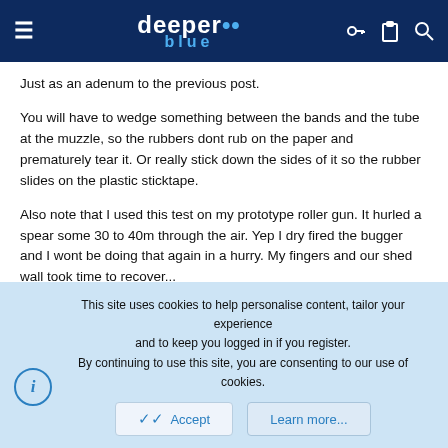deeper blue
Just as an adenum to the previous post.
You will have to wedge something between the bands and the tube at the muzzle, so the rubbers dont rub on the paper and prematurely tear it. Or really stick down the sides of it so the rubber slides on the plastic sticktape.
Also note that I used this test on my prototype roller gun. It hurled a spear some 30 to 40m through the air. Yep I dry fired the bugger and I wont be doing that again in a hurry. My fingers and our shed wall took time to recover...
But my wax-paper test did show considerable shaft whip on it! But it doesnt consider the dampening effect of water (when you dry fire).
This site uses cookies to help personalise content, tailor your experience and to keep you logged in if you register.
By continuing to use this site, you are consenting to our use of cookies.